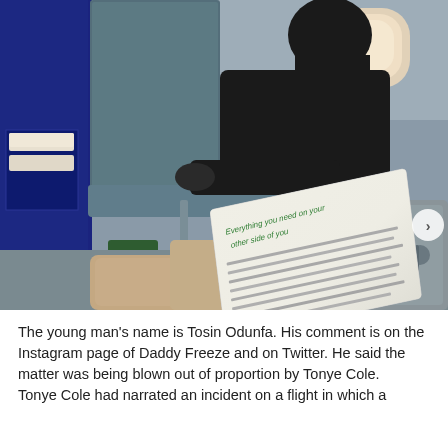[Figure (photo): Interior of an airplane business class cabin showing a passenger seated in a dark outfit viewed from behind/side, with aircraft seats, a window, and an open book/document on a tray table in the foreground.]
The young man's name is Tosin Odunfa. His comment is on the Instagram page of Daddy Freeze and on Twitter. He said the matter was being blown out of proportion by Tonye Cole.
Tonye Cole had narrated an incident on a flight in which a